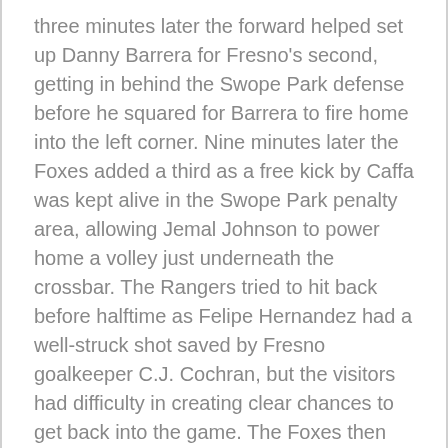three minutes later the forward helped set up Danny Barrera for Fresno's second, getting in behind the Swope Park defense before he squared for Barrera to fire home into the left corner. Nine minutes later the Foxes added a third as a free kick by Caffa was kept alive in the Swope Park penalty area, allowing Jemal Johnson to power home a volley just underneath the crossbar. The Rangers tried to hit back before halftime as Felipe Hernandez had a well-struck shot saved by Fresno goalkeeper C.J. Cochran, but the visitors had difficulty in creating clear chances to get back into the game. The Foxes then wrapped up all three points with eight minutes to go as Renato Bustamante fired home the rebound after a chance from a free kick had been parried by Swope Park goalkeeper Darrin MacLeod, and while Swope Park's Wilson Harris scored in the 86th minute as he finished into an open net after a deflection had deceived Cochran when he tried to claim a through-ball, the